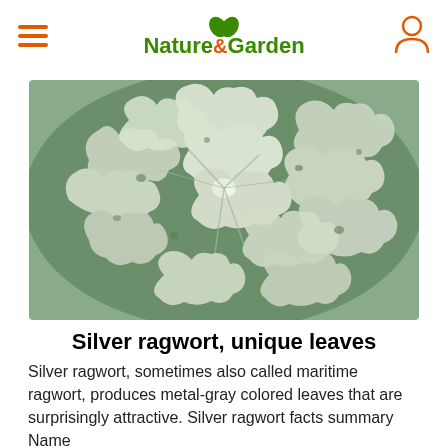Nature & Garden
[Figure (photo): Close-up photograph of silver ragwort plant showing distinctive silver-gray colored leaves with deeply lobed, lacy edges against a green background]
Silver ragwort, unique leaves
Silver ragwort, sometimes also called maritime ragwort, produces metal-gray colored leaves that are surprisingly attractive. Silver ragwort facts summary Name